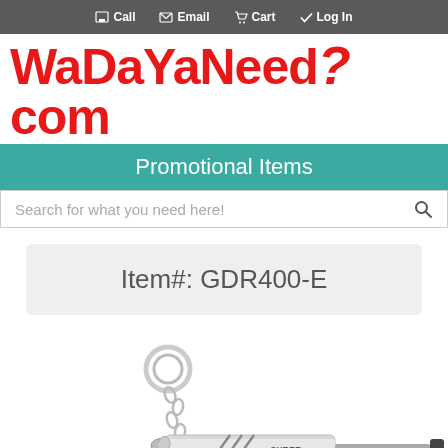Call  Email  Cart  Log In
[Figure (logo): WaDaYaNeed?com logo in red bold text]
Promotional Items
Search for what you need here!
Item#: GDR400-E
[Figure (photo): Promotional keychain multi-tool product photo showing a silver keychain with ring, chain, and a nail-style tool with CYBER branding]